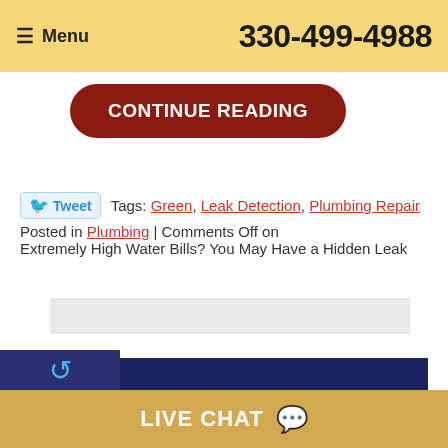Menu  330-499-4988
CONTINUE READING
Tweet  Tags: Green, Leak Detection, Plumbing Repair
Posted in Plumbing | Comments Off on Extremely High Water Bills? You May Have a Hidden Leak
[Figure (other): Gray placeholder bar]
[Figure (other): Crown Group Ohio Blog dark navy banner]
LIVE CHAT